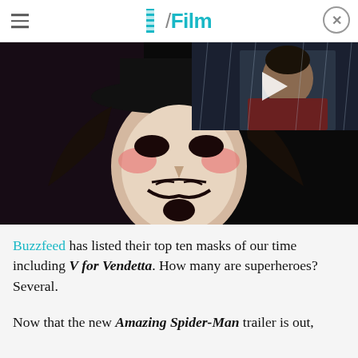/Film
[Figure (photo): Main image: A figure wearing a Guy Fawkes / V for Vendetta mask with black hat, dark background. Overlaid in upper right corner: a video thumbnail showing a man (Superman) in the rain with a play button overlay.]
Buzzfeed has listed their top ten masks of our time including V for Vendetta. How many are superheroes? Several.
Now that the new Amazing Spider-Man trailer is out,